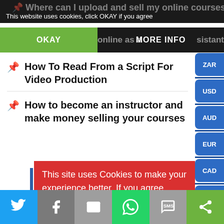This website uses cookies, click OKAY if you agree
OKAY | MORE INFO
How To Read From a Script For Video Production
How to become an instructor and make money selling your courses
This site uses Cookies to make your experience better. If you agree, Please click on Dismiss. Also see our Privacy Policy. Dismiss
Social share bar: Twitter, Facebook, Email, WhatsApp, SMS, Other